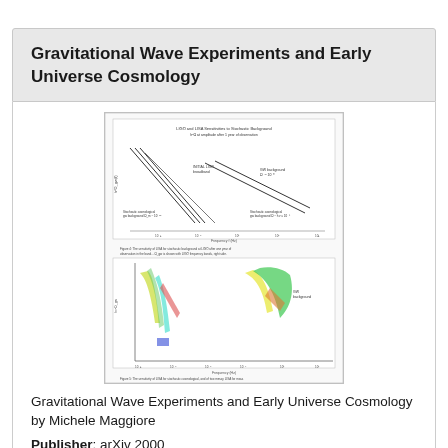Gravitational Wave Experiments and Early Universe Cosmology
[Figure (continuous-plot): Two scientific plots from the paper. Upper plot: sensitivity curves for gravitational wave detectors showing strain sensitivity vs frequency, with multiple diagonal lines representing different detector configurations and labeled regions for stochastic cosmological background. Lower plot: colored contour/region plots showing parameter space constraints, with yellow, green, cyan, and red colored regions on frequency axes, representing sensitivity regions of LISA and other detectors for gravitational wave backgrounds.]
Gravitational Wave Experiments and Early Universe Cosmology by Michele Maggiore
Publisher: arXiv 2000